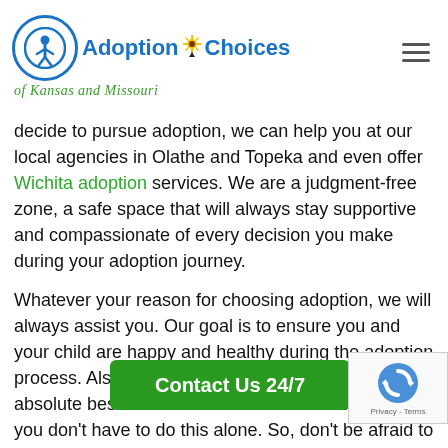Adoption Choices of Kansas and Missouri
decide to pursue adoption, we can help you at our local agencies in Olathe and Topeka and even offer Wichita adoption services. We are a judgment-free zone, a safe space that will always stay supportive and compassionate of every decision you make during your adoption journey.
Whatever your reason for choosing adoption, we will always assist you. Our goal is to ensure you and your child are happy and healthy during the adoption process. Also, to remind you that you are doing the absolute best as a birth mother. Just remember that you don't have to do this alone. So, don't be afraid to reach out to us and get the help you need or get the information you want. Let our adoption specialist h... adoption is not giving up y... ncy help now. Adoption
[Figure (other): Contact Us 24/7 green button overlay]
[Figure (other): reCAPTCHA widget with Privacy - Terms text]